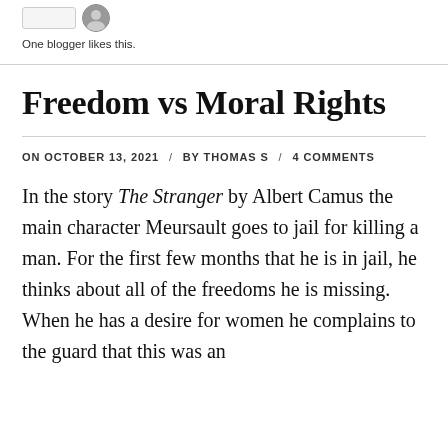[Figure (other): Like button widget and avatar icon for blog post likes]
One blogger likes this.
Freedom vs Moral Rights
ON OCTOBER 13, 2021 / BY THOMAS S / 4 COMMENTS
In the story The Stranger by Albert Camus the main character Meursault goes to jail for killing a man. For the first few months that he is in jail, he thinks about all of the freedoms he is missing. When he has a desire for women he complains to the guard that this was an